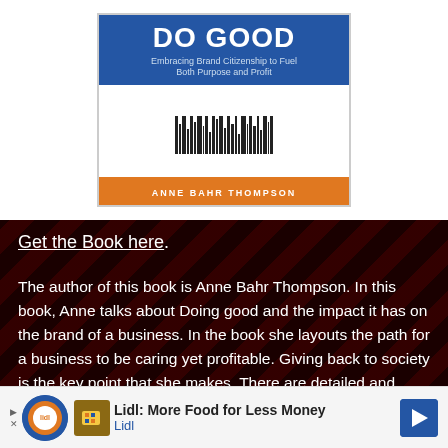[Figure (illustration): Book cover of 'Do Good: Embracing Brand Citizenship to Fuel Both Purpose and Profit' by Anne Bahr Thompson, shown with blue top, barcode in middle, and orange author band at bottom.]
Get the Book here.
The author of this book is Anne Bahr Thompson. In this book, Anne talks about Doing good and the impact it has on the brand of a business. In the book she layouts the path for a business to be caring yet profitable. Giving back to society is the key point that she makes. There are detailed and well-researched case studies that show how practices like fair employment, charity, social responsibility boost the business. This is a must-read
[Figure (illustration): Advertisement banner for Lidl: 'Lidl: More Food for Less Money' with Lidl logo, food cup icon, and blue arrow button.]